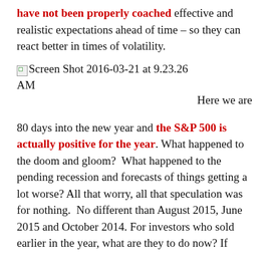have not been properly coached effective and realistic expectations ahead of time – so they can react better in times of volatility.
[Figure (other): Broken image placeholder with alt text 'Screen Shot 2016-03-21 at 9.23.26 AM' and text 'Here we are' to the right]
80 days into the new year and the S&P 500 is actually positive for the year. What happened to the doom and gloom?  What happened to the pending recession and forecasts of things getting a lot worse? All that worry, all that speculation was for nothing.  No different than August 2015, June 2015 and October 2014. For investors who sold earlier in the year, what are they to do now? If